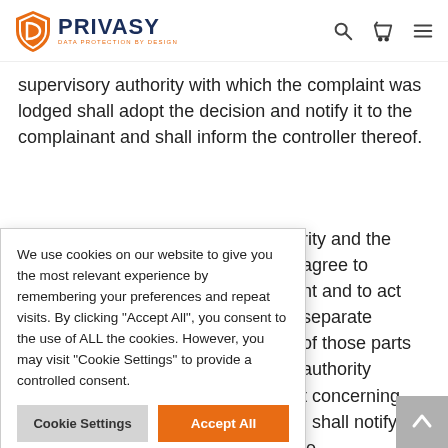PRIVASY — DATA PROTECTION BY DESIGN
supervisory authority with which the complaint was lodged shall adopt the decision and notify it to the complainant and shall inform the controller thereof.
9. Where the lead supervisory authority and the ... agree to ... nt and to act ... separate ... of those parts ... authority ... t concerning ... ; shall notify it ... le ... processor on the territory of its Member State and shall
We use cookies on our website to give you the most relevant experience by remembering your preferences and repeat visits. By clicking "Accept All", you consent to the use of ALL the cookies. However, you may visit "Cookie Settings" to provide a controlled consent.
Cookie Settings
Accept All